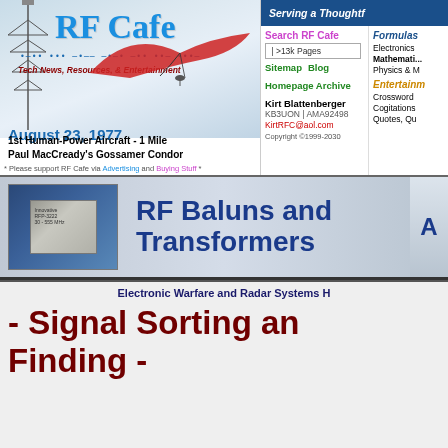[Figure (logo): RF Cafe logo with hang glider aircraft image, date August 23, 1977, tagline Tech News Resources & Entertainment]
Serving a Thoughtful
Search RF Cafe | >13k Pages | Sitemap Blog | Homepage Archive
Formulas | Electronics | Mathematics | Physics & M | Entertainm | Crossword | Cogitations | Quotes Qu
Kirt Blattenberger | KB3UON | AMA92498 | KirtRFC@aol.com | Copyright ©1999-2030
[Figure (infographic): RF Baluns and Transformers advertisement banner with chip component image]
Electronic Warfare and Radar Systems H
- Signal Sorting and Finding -